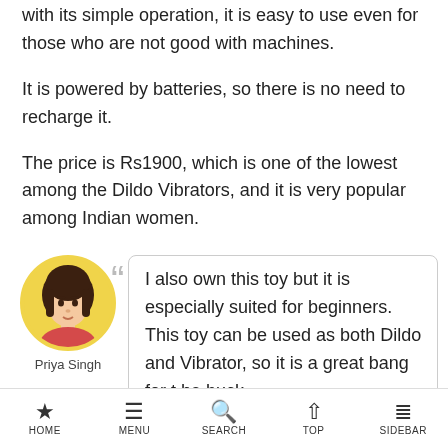with its simple operation, it is easy to use even for those who are not good with machines.
It is powered by batteries, so there is no need to recharge it.
The price is Rs1900, which is one of the lowest among the Dildo Vibrators, and it is very popular among Indian women.
[Figure (illustration): Avatar of a woman labeled Priya Singh with yellow circular border]
I also own this toy but it is especially suited for beginners. This toy can be used as both Dildo and Vibrator, so it is a great bang for the buck.
HOME  MENU  SEARCH  TOP  SIDEBAR